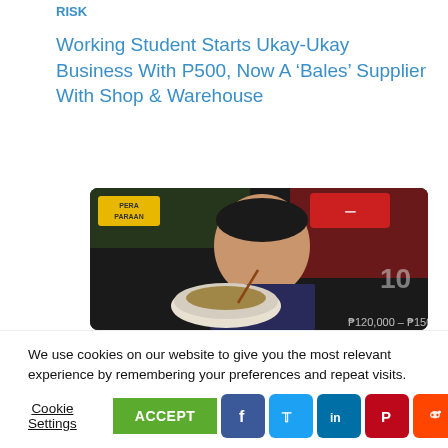RISK
Working Student Starts Ukay-Ukay Business With P500, Now A ‘Bales’ Supplier With Shop & Warehouse
[Figure (photo): Video thumbnail showing a young man with a bowl of food, with text overlay showing monetary values and a 'PERA PARAAN' logo in the upper left corner.]
We use cookies on our website to give you the most relevant experience by remembering your preferences and repeat visits. By clicking “Accept”, you consent to the use of ALL the cookies.
Cookie Settings
ACCEPT